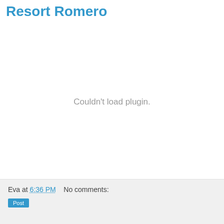Resort Romero
[Figure (other): Embedded plugin area showing 'Couldn't load plugin.' error message in gray text on white background]
Eva at 6:36 PM   No comments: